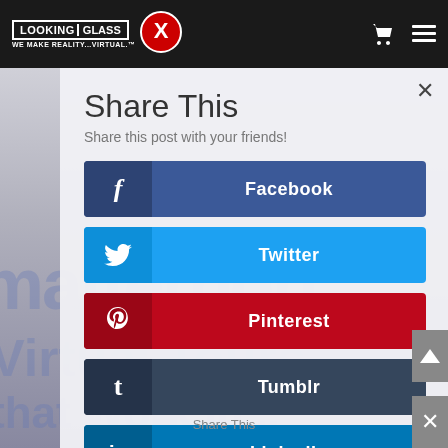[Figure (screenshot): Looking Glass XR website navigation bar with logo on dark background]
Share This
Share this post with your friends!
Facebook
Twitter
Pinterest
Tumblr
LinkedIn
Google+